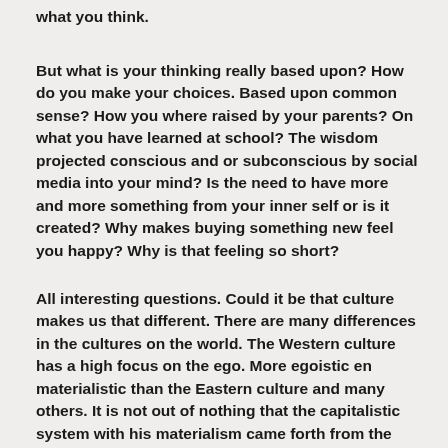what you think.
But what is your thinking really based upon? How do you make your choices. Based upon common sense? How you where raised by your parents? On what you have learned at school? The wisdom projected conscious and or subconscious by social media into your mind? Is the need to have more and more something from your inner self or is it created? Why makes buying something new feel you happy? Why is that feeling so short?
All interesting questions. Could it be that culture makes us that different. There are many differences in the cultures on the world. The Western culture has a high focus on the ego. More egoistic en materialistic than the Eastern culture and many others. It is not out of nothing that the capitalistic system with his materialism came forth from the Western culture.